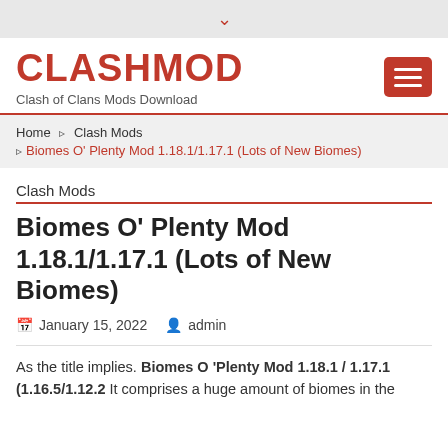▾
CLASHMOD
Clash of Clans Mods Download
Home › Clash Mods › Biomes O' Plenty Mod 1.18.1/1.17.1 (Lots of New Biomes)
Clash Mods
Biomes O' Plenty Mod 1.18.1/1.17.1 (Lots of New Biomes)
January 15, 2022  admin
As the title implies. Biomes O 'Plenty Mod 1.18.1 / 1.17.1 (1.16.5/1.12.2 It comprises a huge amount of biomes in the